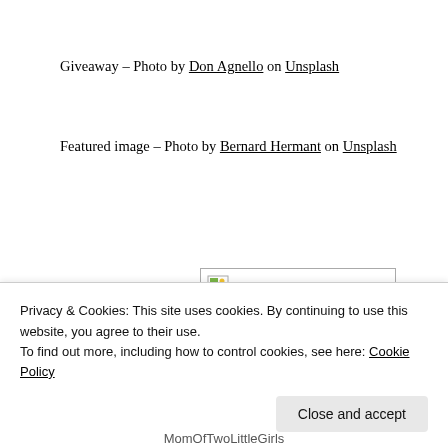Giveaway – Photo by Don Agnello on Unsplash
Featured image – Photo by Bernard Hermant on Unsplash
[Figure (photo): Broken/unloaded image placeholder with small image icon in top-left corner]
Privacy & Cookies: This site uses cookies. By continuing to use this website, you agree to their use.
To find out more, including how to control cookies, see here: Cookie Policy
Close and accept
MomOfTwoLittleGirls